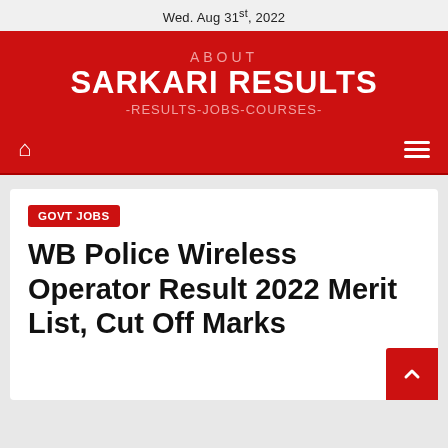Wed. Aug 31st, 2022
ABOUT SARKARI RESULTS -RESULTS-JOBS-COURSES-
GOVT JOBS
WB Police Wireless Operator Result 2022 Merit List, Cut Off Marks